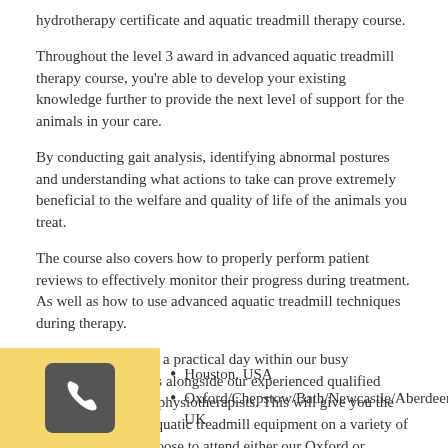hydrotherapy certificate and aquatic treadmill therapy course.
Throughout the level 3 award in advanced aquatic treadmill therapy course, you're able to develop your existing knowledge further to provide the next level of support for the animals in your care.
By conducting gait analysis, identifying abnormal postures and understanding what actions to take can prove extremely beneficial to the welfare and quality of life of the animals you treat.
The course also covers how to properly perform patient reviews to effectively monitor their progress during treatment. As well as how to use advanced aquatic treadmill techniques during therapy.
This course includes a practical day within our busy rehabilitation centres alongside our experienced qualified hydrotherapists and physiotherapists. This will give you the opportunity to use aquatic treadmill equipment on a variety of patients. You can choose to attend either our Oxford or Chepstow centres.
Placement centres that deliver this:
[Figure (illustration): Yellow background box with a dark grey phone handset icon]
Houston, USA
Oxford/Chepstow/Bath/Newcastle/Aberdeen, UK